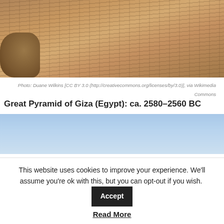[Figure (photo): Close-up photograph of ancient stone pyramid blocks/steps with a large rock in the lower left, showing sandy-colored layered stonework at an angle]
Photo: Duane Wilkins [CC BY 3.0 (http://creativecommons.org/licenses/by/3.0)], via Wikimedia Commons
Great Pyramid of Giza (Egypt): ca. 2580–2560 BC
[Figure (photo): Partial photograph showing blue sky and the base/lower portion of the Great Pyramid of Giza]
This website uses cookies to improve your experience. We'll assume you're ok with this, but you can opt-out if you wish.
Accept
Read More